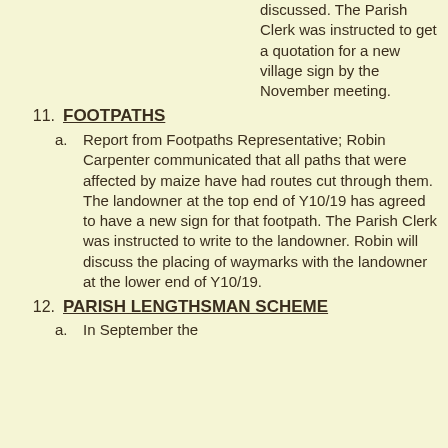discussed. The Parish Clerk was instructed to get a quotation for a new village sign by the November meeting.
11. FOOTPATHS
a. Report from Footpaths Representative; Robin Carpenter communicated that all paths that were affected by maize have had routes cut through them. The landowner at the top end of Y10/19 has agreed to have a new sign for that footpath. The Parish Clerk was instructed to write to the landowner. Robin will discuss the placing of waymarks with the landowner at the lower end of Y10/19.
12. PARISH LENGTHSMAN SCHEME
a. In September the